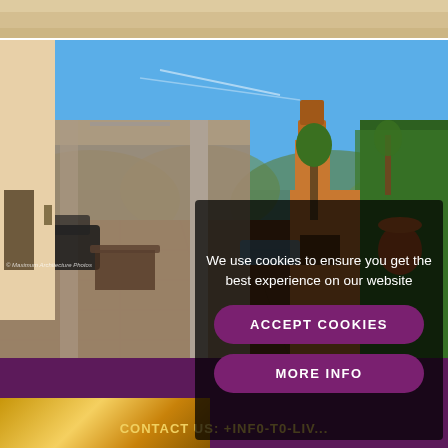[Figure (photo): Beige/sand colored strip at the top of the page, partial view of a property image]
[Figure (photo): Exterior photo of a Spanish villa with a covered terrace on the left, terracotta tile floor, a brick barbecue/chimney on the right, green hedges, and blue sky with mountains in the background]
We use cookies to ensure you get the best experience on our website
ACCEPT COOKIES
MORE INFO
CONTACT US: +INF0-TO-LIV...